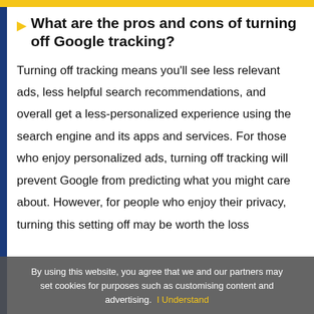What are the pros and cons of turning off Google tracking?
Turning off tracking means you'll see less relevant ads, less helpful search recommendations, and overall get a less-personalized experience using the search engine and its apps and services. For those who enjoy personalized ads, turning off tracking will prevent Google from predicting what you might care about. However, for people who enjoy their privacy, turning this setting off may be worth the loss
By using this website, you agree that we and our partners may set cookies for purposes such as customising content and advertising.  I Understand